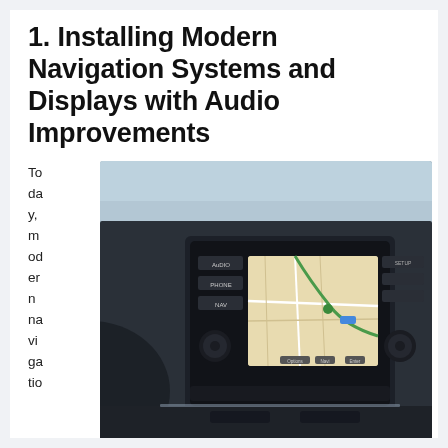1. Installing Modern Navigation Systems and Displays with Audio Improvements
Today, modern navigation
[Figure (photo): Car dashboard with a modern navigation system and touchscreen display showing a map, with audio/phone/nav controls visible.]
n systems have come a long way. There are various options for